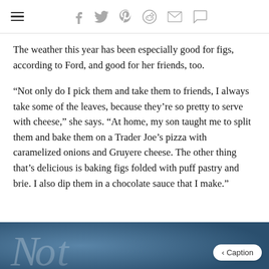☰ f 𝕏 𝗽 reddit ✉ 💬
The weather this year has been especially good for figs, according to Ford, and good for her friends, too.
“Not only do I pick them and take them to friends, I always take some of the leaves, because they’re so pretty to serve with cheese,” she says. “At home, my son taught me to split them and bake them on a Trader Joe’s pizza with caramelized onions and Gruyere cheese. The other thing that’s delicious is baking figs folded with puff pastry and brie. I also dip them in a chocolate sauce that I make.”
[Figure (photo): Blue-toned image with white cursive/script lettering, partially visible at bottom of page. A '< Caption' button overlay appears in the bottom right.]